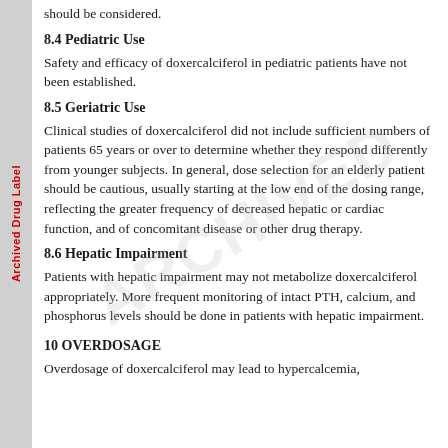Archived Drug Label
should be considered.
8.4 Pediatric Use
Safety and efficacy of doxercalciferol in pediatric patients have not been established.
8.5 Geriatric Use
Clinical studies of doxercalciferol did not include sufficient numbers of patients 65 years or over to determine whether they respond differently from younger subjects. In general, dose selection for an elderly patient should be cautious, usually starting at the low end of the dosing range, reflecting the greater frequency of decreased hepatic or cardiac function, and of concomitant disease or other drug therapy.
8.6 Hepatic Impairment
Patients with hepatic impairment may not metabolize doxercalciferol appropriately. More frequent monitoring of intact PTH, calcium, and phosphorus levels should be done in patients with hepatic impairment.
10 OVERDOSAGE
Overdosage of doxercalciferol may lead to hypercalcemia,